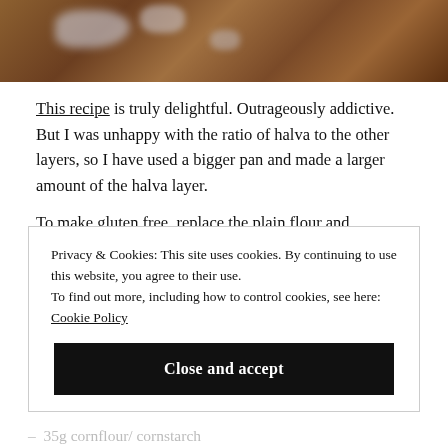[Figure (photo): Top portion of a baked dessert with rusty brown surface and white spots, partially cropped]
This recipe is truly delightful. Outrageously addictive. But I was unhappy with the ratio of halva to the other layers, so I have used a bigger pan and made a larger amount of the halva layer.
To make gluten free, replace the plain flour and cornflour with a gluten free flour blend. I used Doves Freee plain
Privacy & Cookies: This site uses cookies. By continuing to use this website, you agree to their use.
To find out more, including how to control cookies, see here:
Cookie Policy
Close and accept
35g cornflour/ cornstarch